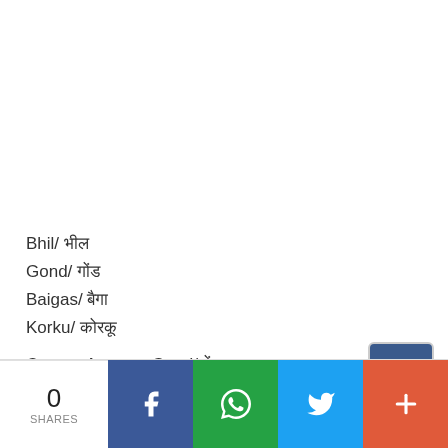Bhil/ भील
Gond/ गोंड
Baigas/ बैगा
Korku/ कोरकू
Correct Answer :Gond/गोंड
0 SHARES | Facebook | WhatsApp | Twitter | More